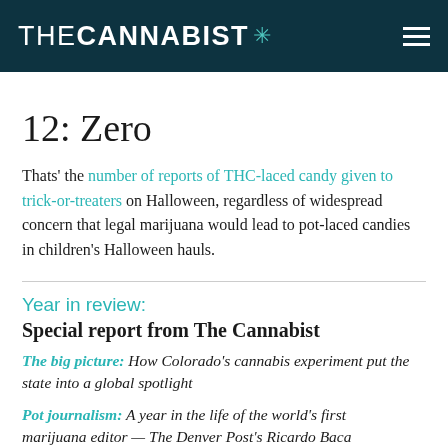THE CANNABIST ☘
12: Zero
Thats' the number of reports of THC-laced candy given to trick-or-treaters on Halloween, regardless of widespread concern that legal marijuana would lead to pot-laced candies in children's Halloween hauls.
Year in review: Special report from The Cannabist
The big picture: How Colorado's cannabis experiment put the state into a global spotlight
Pot journalism: A year in the life of the world's first marijuana editor — The Denver Post's Ricardo Baca